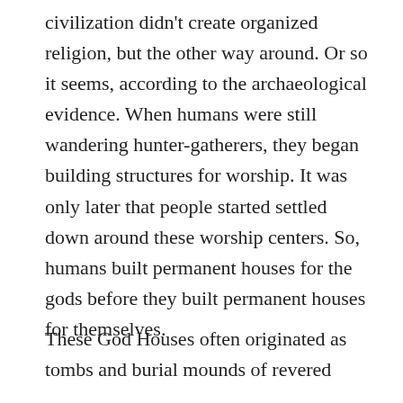civilization didn't create organized religion, but the other way around. Or so it seems, according to the archaeological evidence. When humans were still wandering hunter-gatherers, they began building structures for worship. It was only later that people started settled down around these worship centers. So, humans built permanent houses for the gods before they built permanent houses for themselves.
These God Houses often originated as tombs and burial mounds of revered